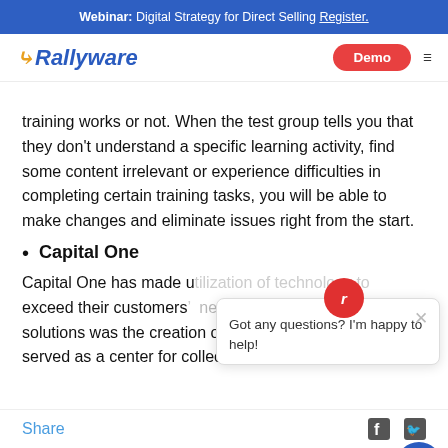Webinar: Digital Strategy for Direct Selling Register.
[Figure (logo): Rallyware logo with yellow arrow and blue italic text, Demo button in red, hamburger menu icon]
training works or not. When the test group tells you that they don't understand a specific learning activity, find some content irrelevant or experience difficulties in completing certain training tasks, you will be able to make changes and eliminate issues right from the start.
Capital One
Capital One has made use of … exceed their customers' needs. One of its creative solutions was the creation of Capital One Labs that served as a center for collecting user feedback
[Figure (screenshot): Chat popup with Rallyware icon and message: Got any questions? I'm happy to help!]
Share  [Facebook icon] [Twitter icon]